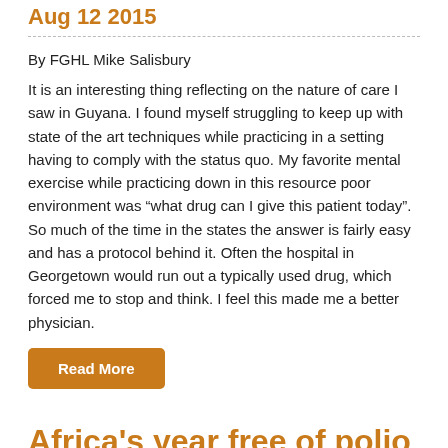Aug 12 2015
By FGHL Mike Salisbury
It is an interesting thing reflecting on the nature of care I saw in Guyana. I found myself struggling to keep up with state of the art techniques while practicing in a setting having to comply with the status quo. My favorite mental exercise while practicing down in this resource poor environment was “what drug can I give this patient today”. So much of the time in the states the answer is fairly easy and has a protocol behind it. Often the hospital in Georgetown would run out a typically used drug, which forced me to stop and think. I feel this made me a better physician.
Read More
Africa's year free of polio is first step towards